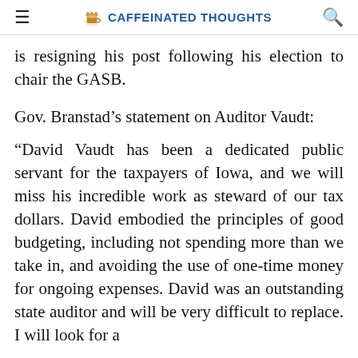CAFFEINATED THOUGHTS
is resigning his post following his election to chair the GASB.
Gov. Branstad’s statement on Auditor Vaudt:
“David Vaudt has been a dedicated public servant for the taxpayers of Iowa, and we will miss his incredible work as steward of our tax dollars. David embodied the principles of good budgeting, including not spending more than we take in, and avoiding the use of one-time money for ongoing expenses. David was an outstanding state auditor and will be very difficult to replace. I will look for a